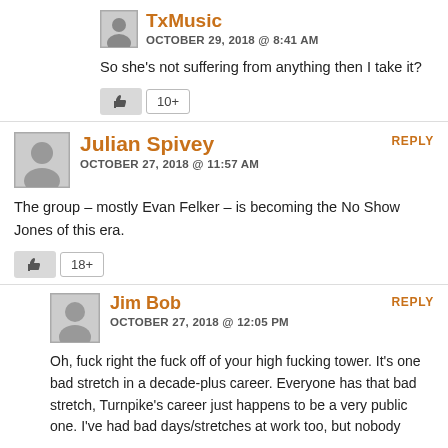TxMusic
OCTOBER 29, 2018 @ 8:41 AM
So she's not suffering from anything then I take it?
10+
Julian Spivey
OCTOBER 27, 2018 @ 11:57 AM
The group – mostly Evan Felker – is becoming the No Show Jones of this era.
18+
Jim Bob
OCTOBER 27, 2018 @ 12:05 PM
Oh, fuck right the fuck off of your high fucking tower. It's one bad stretch in a decade-plus career. Everyone has that bad stretch, Turnpike's career just happens to be a very public one. I've had bad days/stretches at work too, but nobody